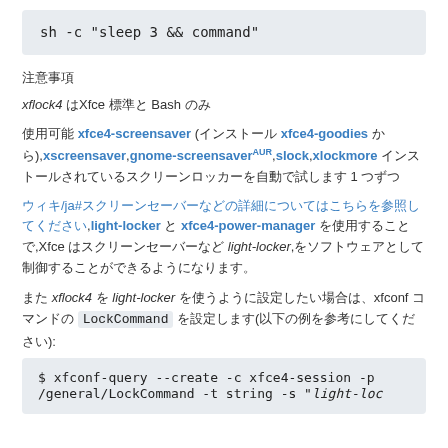sh -c "sleep 3 && command"
注意事項
xflock4 はXfce 標準と Bash のみ
使用可能 xfce4-screensaver (インストール xfce4-goodies から),xscreensaver,gnome-screensaverAUR,slock,xlockmore インストールされているスクリーンロッカーを自動で試します 1 つずつ
ウィキ/ja#スクリーンセーバーなどの詳細についてはこちらを参照してください,light-locker と xfce4-power-manager を使用することで,Xce はスクリーンセーバーなど light-locker,をソフトウェアとして制御することができるようになります。
また xflock4 を light-locker を使うように設定したい場合は、xfconf コマンドの LockCommand を設定します(以下の例を参考にしてください):
$ xfconf-query --create -c xfce4-session -p /general/LockCommand -t string -s "light-loc